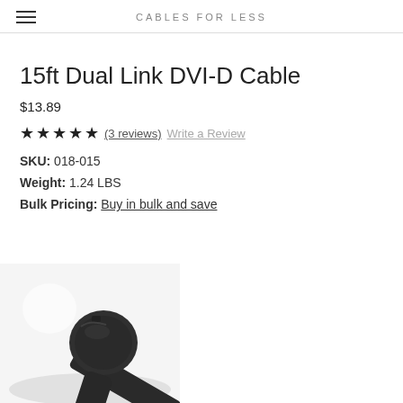CABLES FOR LESS
15ft Dual Link DVI-D Cable
$13.89
★★★★★ (3 reviews)  Write a Review
SKU: 018-015
Weight: 1.24 LBS
Bulk Pricing: Buy in bulk and save
[Figure (photo): Close-up photo of a black DVI-D cable connector end with cylindrical ferrite core and flat cable]